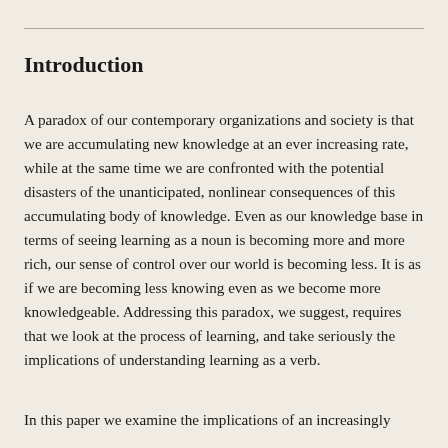Introduction
A paradox of our contemporary organizations and society is that we are accumulating new knowledge at an ever increasing rate, while at the same time we are confronted with the potential disasters of the unanticipated, nonlinear consequences of this accumulating body of knowledge. Even as our knowledge base in terms of seeing learning as a noun is becoming more and more rich, our sense of control over our world is becoming less. It is as if we are becoming less knowing even as we become more knowledgeable. Addressing this paradox, we suggest, requires that we look at the process of learning, and take seriously the implications of understanding learning as a verb.
In this paper we examine the implications of an increasingly